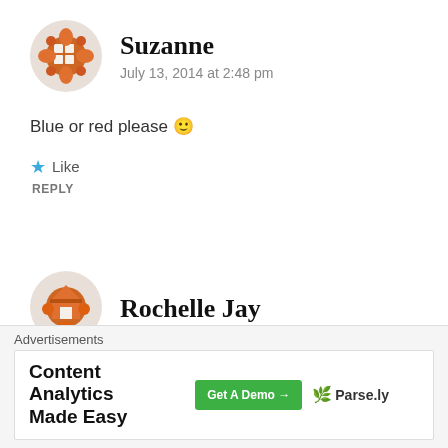[Figure (illustration): Orange decorative avatar icon for user Suzanne]
Suzanne
July 13, 2014 at 2:48 pm
Blue or red please 🙂
★ Like
REPLY
[Figure (illustration): Orange decorative avatar icon for user Rochelle Jay]
Rochelle Jay
Advertisements
Content Analytics Made Easy  Get A Demo →  🌿 Parse.ly